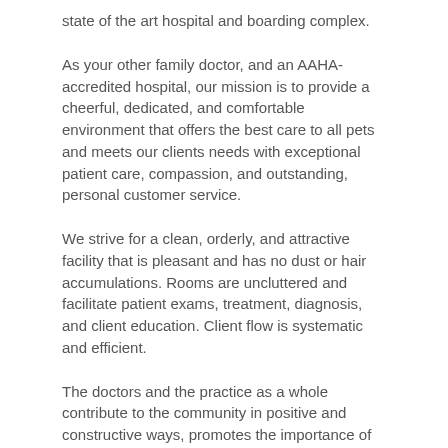state of the art hospital and boarding complex.
As your other family doctor, and an AAHA-accredited hospital, our mission is to provide a cheerful, dedicated, and comfortable environment that offers the best care to all pets and meets our clients needs with exceptional patient care, compassion, and outstanding, personal customer service.
We strive for a clean, orderly, and attractive facility that is pleasant and has no dust or hair accumulations. Rooms are uncluttered and facilitate patient exams, treatment, diagnosis, and client education. Client flow is systematic and efficient.
The doctors and the practice as a whole contribute to the community in positive and constructive ways, promotes the importance of pets in our clients' lives and the society at large. We promote responsible pet care. The practice, the doctors, and the staff maintain a very personal relationship with our clients and pets. We rely heavily on and actively solicit referrals from our clients, because good clients refer more good clients. We want to be known as the practice that offers the most value for our clients. We want our practice team to be considered the best at what we do.